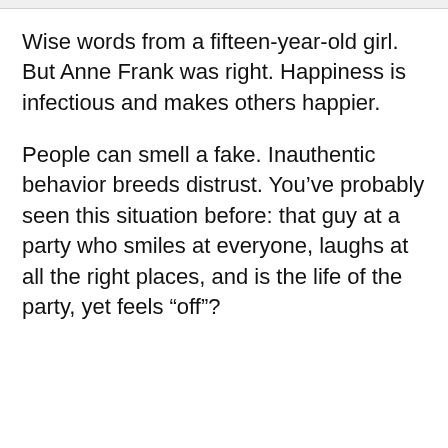Wise words from a fifteen-year-old girl. But Anne Frank was right. Happiness is infectious and makes others happier.
People can smell a fake. Inauthentic behavior breeds distrust. You've probably seen this situation before: that guy at a party who smiles at everyone, laughs at all the right places, and is the life of the party, yet feels “off”?